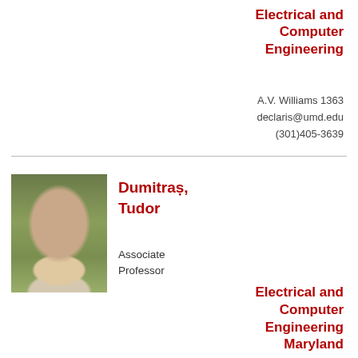Electrical and Computer Engineering
A.V. Williams 1363
declaris@umd.edu
(301)405-3639
[Figure (photo): Headshot photo of Tudor Dumitras, a man with dark hair wearing a light-colored plaid shirt, posed outdoors with a blurred green background.]
Dumitras, Tudor
Associate Professor
Electrical and Computer Engineering Maryland